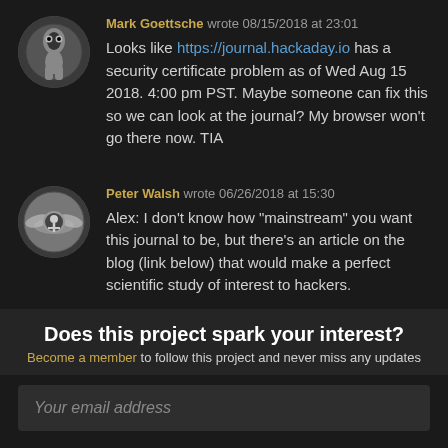Mark Goettsche wrote 08/15/2018 at 23:01
Looks like https://journal.hackaday.io has a security certificate problem as of Wed Aug 15 2018. 4:00 pm PST. Maybe someone can fix this so we can look at the journal? My browser won't go there now. TIA
Peter Walsh wrote 06/26/2018 at 15:30
Alex: I don't know how "mainstream" you want this journal to be, but there's an article on the blog (link below) that would make a perfect scientific study of interest to hackers.
Does this project spark your interest?
Become a member to follow this project and never miss any updates
Your email address